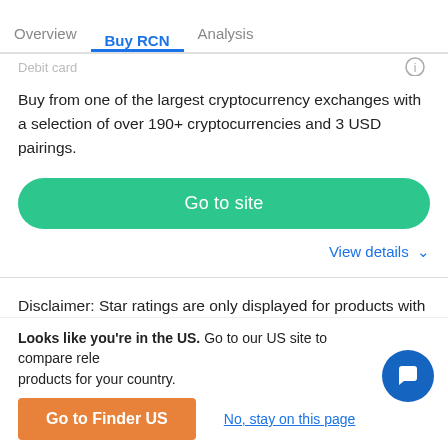Overview | Buy RCN | Analysis
Debit card
Buy from one of the largest cryptocurrency exchanges with a selection of over 190+ cryptocurrencies and 3 USD pairings.
Go to site
View details
Disclaimer: Star ratings are only displayed for products with 10 or more reviews.
Looks like you're in the US. Go to our US site to compare relevant products for your country.
Go to Finder US
No, stay on this page